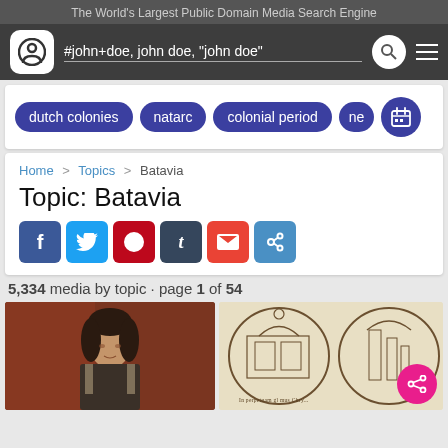The World's Largest Public Domain Media Search Engine
#john+doe, john doe, "john doe"
dutch colonies  natarc  colonial period  ne
Home > Topics > Batavia
Topic: Batavia
5,334 media by topic · page 1 of 54
[Figure (photo): Portrait painting — person in historical clothing against red drape background]
[Figure (illustration): Historical engraving/map with architectural and cartographic elements and Latin text at bottom]